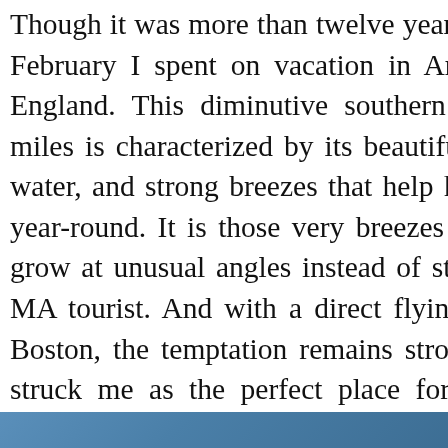Though it was more than twelve years ago, I remember the ten days in February I spent on vacation in Aruba to escape the cold of New England. This diminutive southern Caribbean island of 70 square miles is characterized by its beautiful, white sand beaches, turquoise water, and strong breezes that help keep the temperature comfortable year-round. It is those very breezes that cause the trees on Aruba to grow at unusual angles instead of straight up...an unusual sight for a MA tourist. And with a direct flying time of under five hours from Boston, the temptation remains strong, pandemic or not. Aruba also struck me as the perfect place for a wedding ceremony (not that wedding bells were a my future). Whenever winter rolls around here in M invariably think back to the transient time I spent on happy island and wonder if I will ever, to quote The Beatles, get back to where I once belonged.
[Figure (other): Social sharing buttons: Facebook (f), Twitter (bird), Pinterest (p) — grey circular icons on white rounded rectangle background]
[Figure (photo): Bottom strip showing a partial blue/teal image, likely a beach or ocean photo]